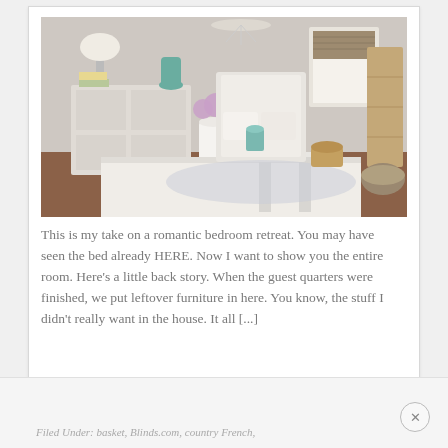[Figure (photo): Interior photo of a romantic bedroom retreat with a white dining table in the foreground, white metal bed frame, antique dresser with lamp, purple flowers in a white pitcher, chandelier, hardwood floors, and a window with blinds.]
This is my take on a romantic bedroom retreat. You may have seen the bed already HERE. Now I want to show you the entire room. Here’s a little back story. When the guest quarters were finished, we put leftover furniture in here. You know, the stuff I didn’t really want in the house. It all […]
Filed Under: basket, Blinds.com, country French,